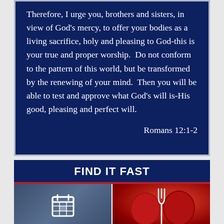Therefore, I urge you, brothers and sisters, in view of God's mercy, to offer your bodies as a living sacrifice, holy and pleasing to God-this is your true and proper worship.  Do not conform to the pattern of this world, but be transformed by the renewing of your mind.  Then you will be able to test and approve what God's will is-His good, pleasing and perfect will.
Romans 12:1-2
FIND IT FAST
[Figure (illustration): Calendar icon in white on a dark blue-grey background]
[Figure (photo): Red apples with a white fork/utensil icon overlay on dark red background]